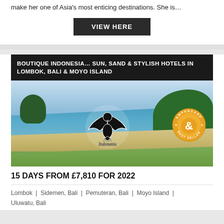make her one of Asia's most enticing destinations. She is…
VIEW HERE
BOUTIQUE INDONESIA… SUN, SAND & STYLISH HOTELS IN LOMBOK, BALI & MOYO ISLAND
[Figure (photo): Beach landscape photo showing turquoise sea, white sand beach, green hills, and blue sky. Features Indonesia garuda bird logo and Ampersand Best Seller badge.]
15 DAYS FROM £7,810 FOR 2022
Lombok | Sidemen, Bali | Pemuteran, Bali | Moyo Island | Uluwatu, Bali